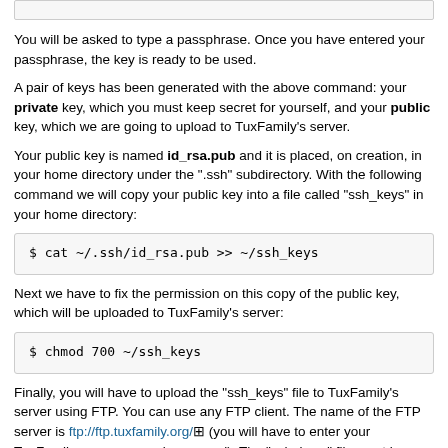You will be asked to type a passphrase. Once you have entered your passphrase, the key is ready to be used.
A pair of keys has been generated with the above command: your private key, which you must keep secret for yourself, and your public key, which we are going to upload to TuxFamily's server.
Your public key is named id_rsa.pub and it is placed, on creation, in your home directory under the ".ssh" subdirectory. With the following command we will copy your public key into a file called "ssh_keys" in your home directory:
$ cat ~/.ssh/id_rsa.pub >> ~/ssh_keys
Next we have to fix the permission on this copy of the public key, which will be uploaded to TuxFamily's server:
$ chmod 700 ~/ssh_keys
Finally, you will have to upload the "ssh_keys" file to TuxFamily's server using FTP. You can use any FTP client. The name of the FTP server is ftp://ftp.tuxfamily.org/ (you will have to enter your TuxFamily username and password). The "ssh_keys" file must be placed inside the root